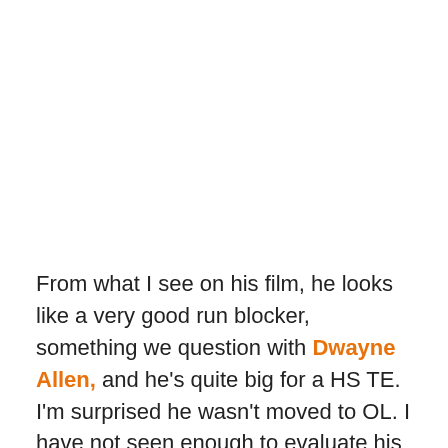From what I see on his film, he looks like a very good run blocker, something we question with Dwayne Allen, and he's quite big for a HS TE. I'm surprised he wasn't moved to OL. I have not seen enough to evaluate his route running or hands, but the scouting people say its very good.